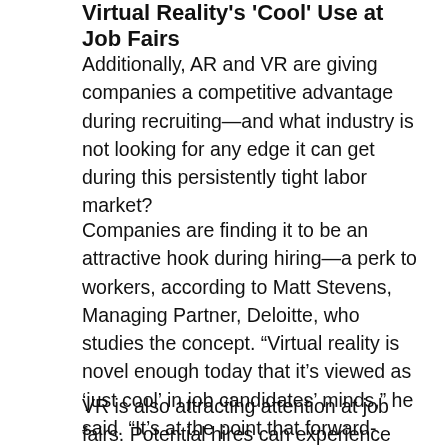Virtual Reality's 'Cool' Use at Job Fairs
Additionally, AR and VR are giving companies a competitive advantage during recruiting—and what industry is not looking for any edge it can get during this persistently tight labor market?
Companies are finding it to be an attractive hook during hiring—a perk to workers, according to Matt Stevens, Managing Partner, Deloitte, who studies the concept. “Virtual reality is novel enough today that it’s viewed as ‘just cool’ in job candidates’ minds,” he said. “It’s at the point that forward-thinking companies are ‘leaning in’ on the idea of using it.”
VR is also attracting attention at job fairs. Potential hires can experience roles virtually before taking